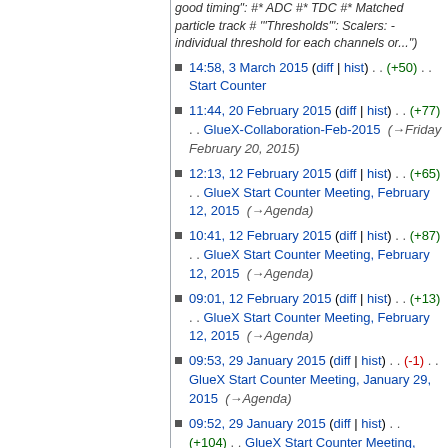good timing": #* ADC #* TDC #* Matched particle track # '"Thresholds"": Scalers: -individual threshold for each channels or...")
14:58, 3 March 2015 (diff | hist) . . (+50) . . Start Counter
11:44, 20 February 2015 (diff | hist) . . (+77) . . GlueX-Collaboration-Feb-2015 (→Friday February 20, 2015)
12:13, 12 February 2015 (diff | hist) . . (+65) . . GlueX Start Counter Meeting, February 12, 2015 (→Agenda)
10:41, 12 February 2015 (diff | hist) . . (+87) . . GlueX Start Counter Meeting, February 12, 2015 (→Agenda)
09:01, 12 February 2015 (diff | hist) . . (+13) . . GlueX Start Counter Meeting, February 12, 2015 (→Agenda)
09:53, 29 January 2015 (diff | hist) . . (-1) . . GlueX Start Counter Meeting, January 29, 2015 (→Agenda)
09:52, 29 January 2015 (diff | hist) . . (+104) . . GlueX Start Counter Meeting, January 29, 2015 (→Agenda)